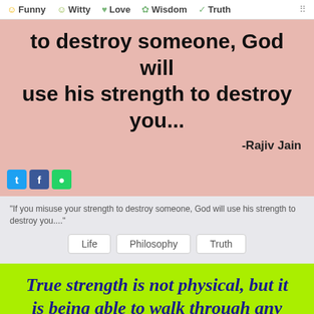Funny  Witty  Love  Wisdom  Truth
to destroy someone, God will use his strength to destroy you...
-Rajiv Jain
"If you misuse your strength to destroy someone, God will use his strength to destroy you...."
Life
Philosophy
Truth
True strength is not physical, but it is being able to walk through any
Contact  FAQ  Privacy  Quotes Widget